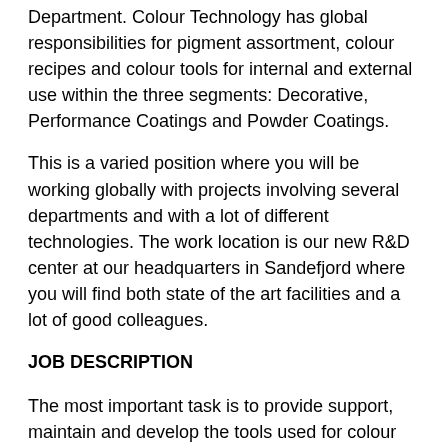Department. Colour Technology has global responsibilities for pigment assortment, colour recipes and colour tools for internal and external use within the three segments: Decorative, Performance Coatings and Powder Coatings.
This is a varied position where you will be working globally with projects involving several departments and with a lot of different technologies. The work location is our new R&D center at our headquarters in Sandefjord where you will find both state of the art facilities and a lot of good colleagues.
JOB DESCRIPTION
The most important task is to provide support, maintain and develop the tools used for colour management and colour matching within Jotun.